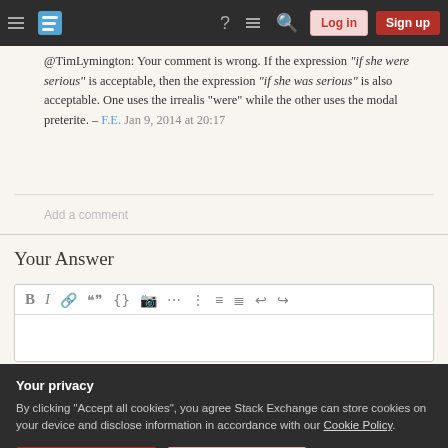Stack Exchange navigation bar with Log in and Sign up buttons
@TimLymington: Your comment is wrong. If the expression "if she were serious" is acceptable, then the expression "if she was serious" is also acceptable. One uses the irrealis "were" while the other uses the modal preterite. – F.E.  Jan 9, 2014 at 20:17
Add a comment
Your Answer
[Figure (screenshot): Text editor toolbar with formatting buttons: Bold, Italic, Link, Blockquote, Code, Image, Ordered list, Unordered list, Align left, Justify, Undo, Redo]
Your privacy
By clicking "Accept all cookies", you agree Stack Exchange can store cookies on your device and disclose information in accordance with our Cookie Policy.
Accept all cookies   Customize settings